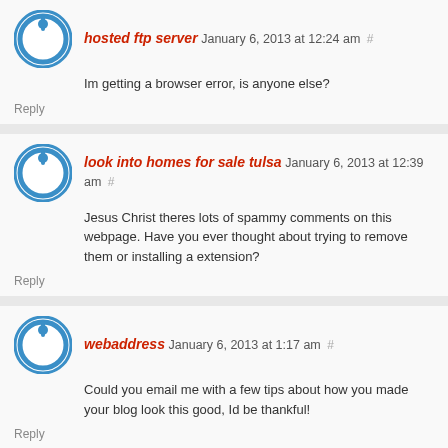hosted ftp server January 6, 2013 at 12:24 am #
Im getting a browser error, is anyone else?
Reply
look into homes for sale tulsa January 6, 2013 at 12:39 am #
Jesus Christ theres lots of spammy comments on this webpage. Have you ever thought about trying to remove them or installing a extension?
Reply
webaddress January 6, 2013 at 1:17 am #
Could you email me with a few tips about how you made your blog look this good, Id be thankful!
Reply